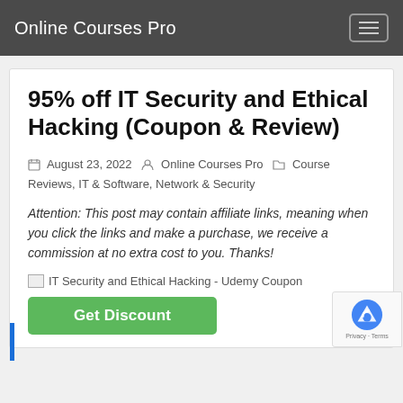Online Courses Pro
95% off IT Security and Ethical Hacking (Coupon & Review)
August 23, 2022  Online Courses Pro  Course Reviews, IT & Software, Network & Security
Attention: This post may contain affiliate links, meaning when you click the links and make a purchase, we receive a commission at no extra cost to you. Thanks!
[Figure (other): IT Security and Ethical Hacking - Udemy Coupon image placeholder]
Get Discount